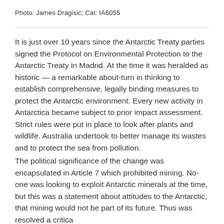Photo: James Dragisic; Cat: IA6055
It is just over 10 years since the Antarctic Treaty parties signed the Protocol on Environmental Protection to the Antarctic Treaty in Madrid. At the time it was heralded as historic — a remarkable about-turn in thinking to establish comprehensive, legally binding measures to protect the Antarctic environment. Every new activity in Antarctica became subject to prior impact assessment. Strict rules were put in place to look after plants and wildlife. Australia undertook to better manage its wastes and to protect the sea from pollution.
The political significance of the change was encapsulated in Article 7 which prohibited mining. No-one was looking to exploit Antarctic minerals at the time, but this was a statement about attitudes to the Antarctic, that mining would not be part of its future. Thus was resolved a critical